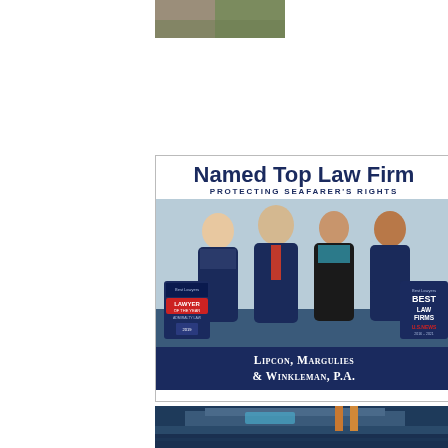[Figure (photo): Partial image at top of page, appears to be a wooden surface or interior]
[Figure (illustration): Law firm advertisement for Lipcon, Margulies & Winkleman, P.A. Named Top Law Firm protecting seafarer's rights. Shows four attorneys (three men and one woman) in professional attire. Includes Best Lawyers 'Lawyer of the Year' badge on the left and U.S. News Best Law Firms badge on the right. Navy blue and white color scheme.]
Named Top Law Firm
PROTECTING SEAFARER'S RIGHTS
Lipcon, Margulies & Winkleman, P.A.
[Figure (photo): Aerial photograph of a large cruise ship viewed from above, showing the deck with pool area, in blue ocean water]